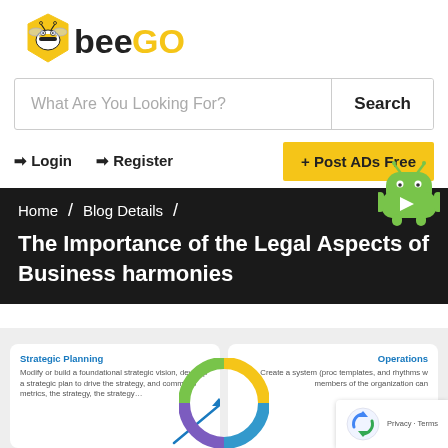[Figure (logo): BeeGo logo with bee mascot and hexagon on the left, and 'bee' in black and 'GO' in yellow text]
What Are You Looking For?
Search
→ Login   → Register
+ Post ADs Free
[Figure (illustration): Green Android robot mascot with Google Play triangle logo on chest]
Home  /  Blog Details  /
The Importance of the Legal Aspects of Business harmonies
[Figure (infographic): Partial view of a business infographic showing 'Strategic Planning' and 'Operations' cards with text and arrow/circle diagram elements]
[Figure (other): reCAPTCHA badge with Google reCAPTCHA logo, Privacy and Terms links]